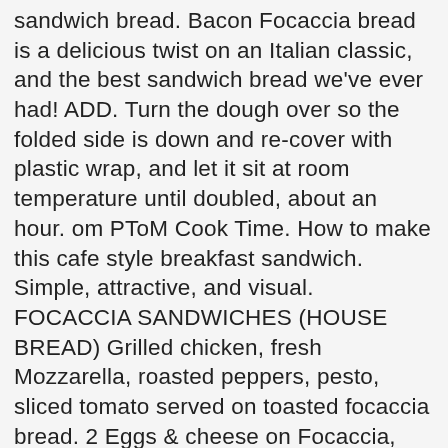sandwich bread. Bacon Focaccia bread is a delicious twist on an Italian classic, and the best sandwich bread we've ever had! ADD. Turn the dough over so the folded side is down and re-cover with plastic wrap, and let it sit at room temperature until doubled, about an hour. om PToM Cook Time. How to make this cafe style breakfast sandwich. Simple, attractive, and visual. FOCACCIA SANDWICHES (HOUSE BREAD) Grilled chicken, fresh Mozzarella, roasted peppers, pesto, sliced tomato served on toasted focaccia bread. 2 Eggs & cheese on Focaccia, Toast, Croissant or Bagel. Finally, don't be afraid to push the toppings into the dough, especially the bacon. Sprinkle the top of the dough with a little sea salt. Sep 27, 2015 - Bacon Focaccia bread is a delicious twist on an Italian classic, and the best sandwich bread we've ever had! Just slice it up into easy to eat squares. Take your Italian sandwich to the next level by making it on focaccia! Made with Sunny Morning's own 24 hours marinated six oz chicken breast. Crecipe.com deliver fine selection of quality Grilled focaccia sandwich recipes